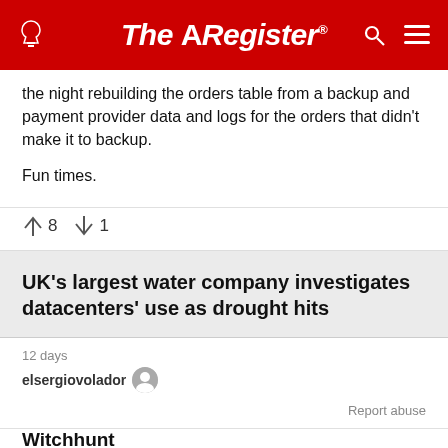The Register
the night rebuilding the orders table from a backup and payment provider data and logs for the orders that didn't make it to backup.

Fun times.
↑8  ↓1
UK's largest water company investigates datacenters' use as drought hits
12 days
elsergiovolador
Report abuse
Witchhunt
Everyone has to tighten the valves, except shareholders, no?